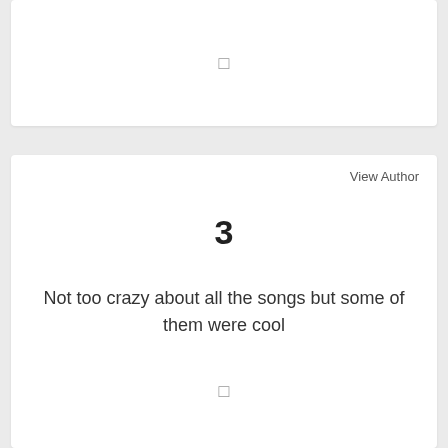[Figure (other): Top white card with a small icon in the center]
View Author
3
Not too crazy about all the songs but some of them were cool
[Figure (other): Small icon at the bottom of the review card]